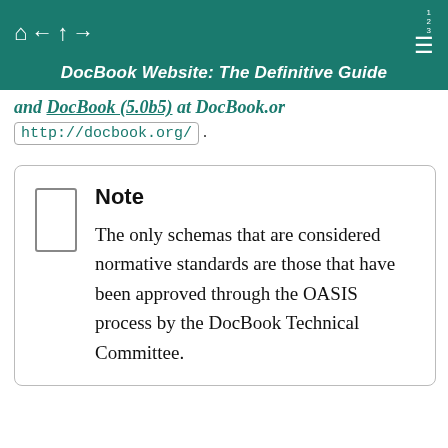DocBook Website: The Definitive Guide
http://docbook.org/ .
Note
The only schemas that are considered normative standards are those that have been approved through the OASIS process by the DocBook Technical Committee.